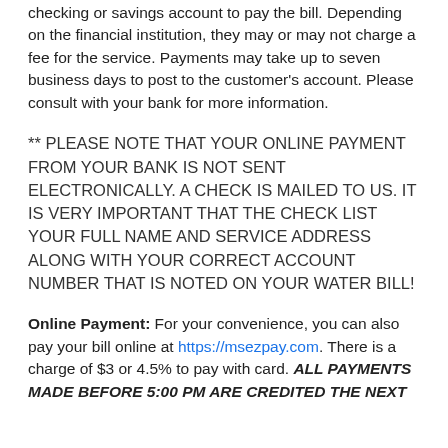checking or savings account to pay the bill. Depending on the financial institution, they may or may not charge a fee for the service. Payments may take up to seven business days to post to the customer's account. Please consult with your bank for more information.
** PLEASE NOTE THAT YOUR ONLINE PAYMENT FROM YOUR BANK IS NOT SENT ELECTRONICALLY. A CHECK IS MAILED TO US. IT IS VERY IMPORTANT THAT THE CHECK LIST YOUR FULL NAME AND SERVICE ADDRESS ALONG WITH YOUR CORRECT ACCOUNT NUMBER THAT IS NOTED ON YOUR WATER BILL!
Online Payment: For your convenience, you can also pay your bill online at https://msezpay.com. There is a charge of $3 or 4.5% to pay with card. ALL PAYMENTS MADE BEFORE 5:00 PM ARE CREDITED THE NEXT